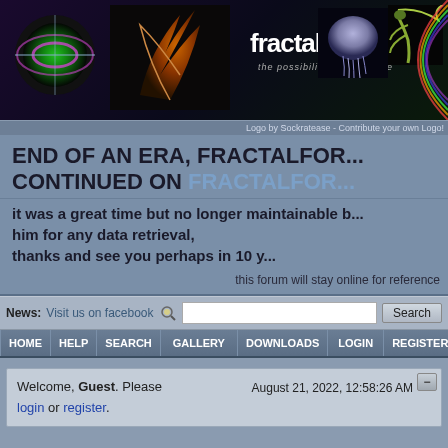[Figure (screenshot): Fractal Forums website banner with fractal art images, site logo reading 'fractalforums - the possibilities are infinite']
Logo by Sockratease - Contribute your own Logo!
END OF AN ERA, FRACTALFOR... CONTINUED ON FRACTALFOR...
it was a great time but no longer maintainable b... him for any data retrieval, thanks and see you perhaps in 10 y...
this forum will stay online for reference
News: Visit us on facebook
HOME | HELP | SEARCH | GALLERY | DOWNLOADS | LOGIN | REGISTER
Welcome, Guest. Please login or register. August 21, 2022, 12:58:26 AM